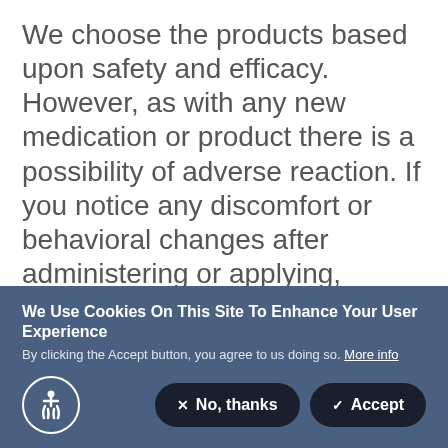We choose the products based upon safety and efficacy. However, as with any new medication or product there is a possibility of adverse reaction. If you notice any discomfort or behavioral changes after administering or applying, please call us at: (209) 287-3222. It is essential to discuss cat flea treatment options with your veterinarian, in order to ensure the method you choose will be safe and effective for your feline friend.
We Use Cookies On This Site To Enhance Your User Experience
By clicking the Accept button, you agree to us doing so. More info